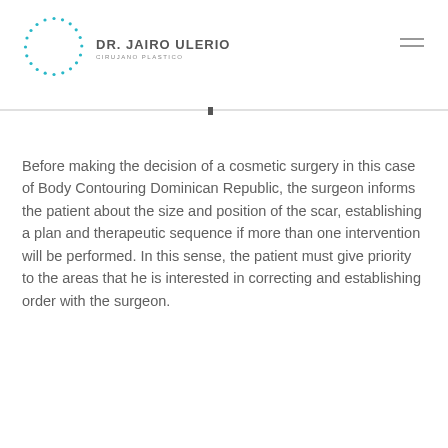DR. JAIRO ULERIO - CIRUJANO PLASTICO
Before making the decision of a cosmetic surgery in this case of Body Contouring Dominican Republic, the surgeon informs the patient about the size and position of the scar, establishing a plan and therapeutic sequence if more than one intervention will be performed. In this sense, the patient must give priority to the areas that he is interested in correcting and establishing order with the surgeon.